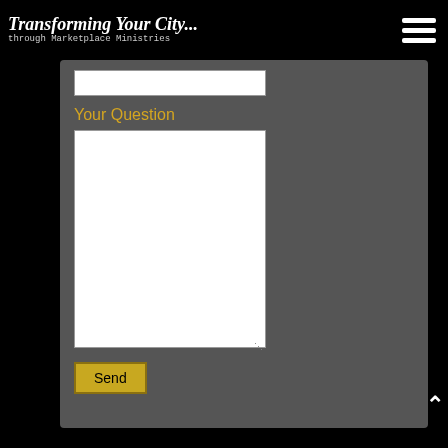Transforming Your City... through Marketplace Ministries
[Figure (screenshot): Web form with a text input box, a 'Your Question' label, a large textarea, and a Send button on a dark gray background]
Your Question
Send